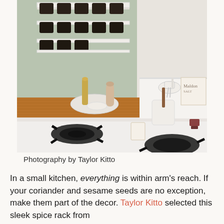[Figure (photo): A stylish small kitchen showing a white vintage gas stove with black cast iron grates, a wooden butcher block countertop, a wall-mounted white spice rack with dark spice jars on a sage green wall, and various kitchen items including a pepper mill, wooden spoon in a white crock, mortar and pestle, and other cooking accessories.]
Photography by Taylor Kitto
In a small kitchen, everything is within arm's reach. If your coriander and sesame seeds are no exception, make them part of the decor. Taylor Kitto selected this sleek spice rack from